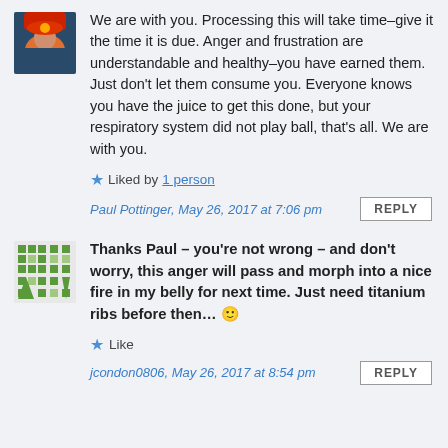We are with you. Processing this will take time–give it the time it is due. Anger and frustration are understandable and healthy–you have earned them. Just don't let them consume you. Everyone knows you have the juice to get this done, but your respiratory system did not play ball, that's all. We are with you.
★ Liked by 1 person
Paul Pottinger, May 26, 2017 at 7:06 pm
Thanks Paul – you're not wrong – and don't worry, this anger will pass and morph into a nice fire in my belly for next time. Just need titanium ribs before then... 🙂
★ Like
jcondon0806, May 26, 2017 at 8:54 pm